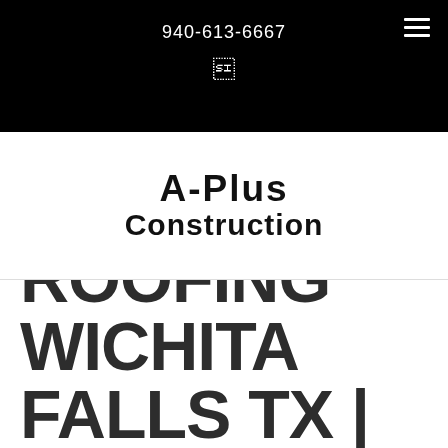940-613-6667
[Figure (logo): A-Plus Construction logo in handwritten/comic style font]
ROOFING WICHITA FALLS TX |